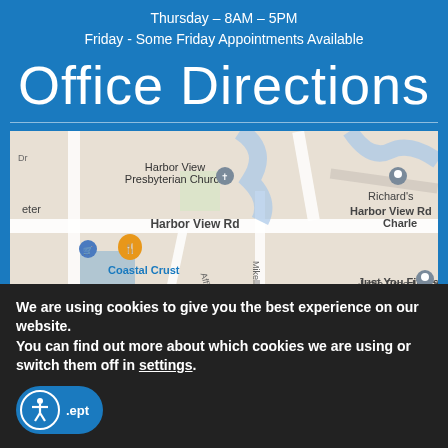Thursday – 8AM – 5PM
Friday - Some Friday Appointments Available
Office Directions
[Figure (map): Google Maps screenshot showing Harbor View Rd area with markers for Harbor View Presbyterian Church, Coastal Crust, Richard's, Just You Fitness, Little Free Library, and STILES POIN area]
We are using cookies to give you the best experience on our website.
You can find out more about which cookies we are using or switch them off in settings.
.ept